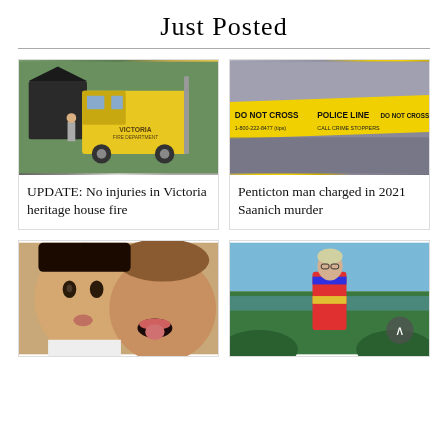Just Posted
[Figure (photo): Yellow Victoria fire department fire truck at scene of a house fire, with damaged house visible]
UPDATE: No injuries in Victoria heritage house fire
[Figure (photo): Yellow police tape reading DO NOT CROSS POLICE LINE DO NOT CROSS 1-800-222-8477 (tips) CALL CRIME STOPPERS]
Penticton man charged in 2021 Saanich murder
[Figure (photo): Two children taking a selfie, one making a kissy face and one sticking their tongue out]
[Figure (photo): Person in colorful cycling gear standing outdoors with trees and water in background, scroll-up button overlay]